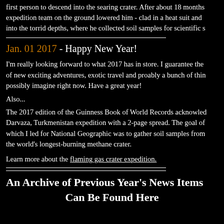first person to descend into the searing crater. After about 18 months expedition team on the ground lowered him - clad in a heat suit and into the torrid depths, where he collected soil samples for scientific s
Jan. 01 2017 - Happy New Year!
I'm really looking forward to what 2017 has in store. I guarantee the of new exciting adventures, exotic travel and proably a bunch of thin possibly imagine right now. Have a great year!
Also...
The 2017 edition of the Guinness Book of World Records acknowledged Darvaza, Turkmenistan expedition with a 2-page spread. The goal of which I led for National Geographic was to gather soil samples from the world's longest-burning methane crater.
Learn more about the flaming gas crater expedition.
An Archive of Previous Year's News Items Can Be Found Here